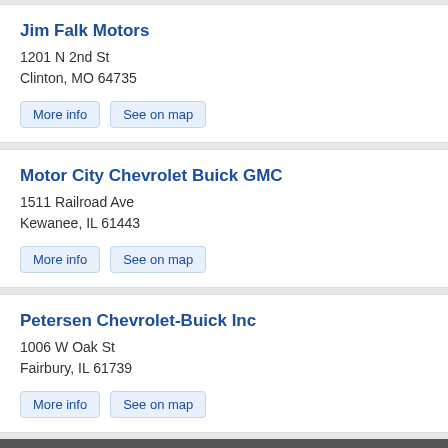Jim Falk Motors
1201 N 2nd St
Clinton, MO 64735
More info  See on map
Motor City Chevrolet Buick GMC
1511 Railroad Ave
Kewanee, IL 61443
More info  See on map
Petersen Chevrolet-Buick Inc
1006 W Oak St
Fairbury, IL 61739
More info  See on map
Linwood Chevrolet Buick GMC LLC
2007 US-45
▲ Back to Top